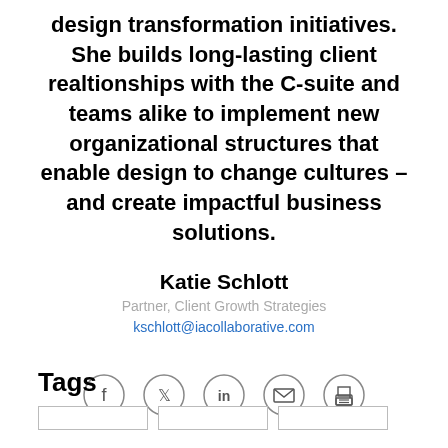design transformation initiatives. She builds long-lasting client realtionships with the C-suite and teams alike to implement new organizational structures that enable design to change cultures – and create impactful business solutions.
Katie Schlott
Partner, Client Growth Strategies
kschlott@iacollaborative.com
[Figure (infographic): Five social sharing icons in circles: Facebook (f), Twitter (bird), LinkedIn (in), Email (envelope), Print (printer)]
Tags